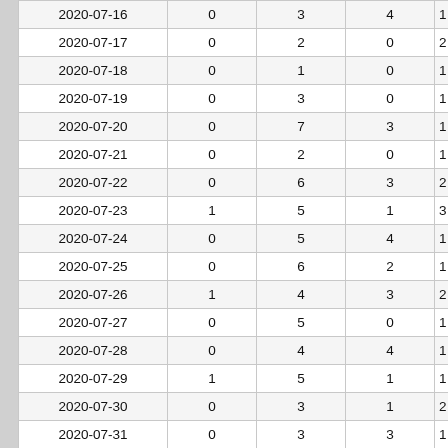| Date | Col2 | Col3 | Col4 | Col5 |
| --- | --- | --- | --- | --- |
| 2020-07-16 | 0 | 3 | 4 | 1… |
| 2020-07-17 | 0 | 2 | 0 | 2… |
| 2020-07-18 | 0 | 1 | 0 | 1… |
| 2020-07-19 | 0 | 3 | 0 | 1… |
| 2020-07-20 | 0 | 7 | 3 | 1… |
| 2020-07-21 | 0 | 2 | 0 | 1… |
| 2020-07-22 | 0 | 6 | 3 | 2… |
| 2020-07-23 | 1 | 5 | 1 | 3… |
| 2020-07-24 | 0 | 5 | 4 | 1… |
| 2020-07-25 | 0 | 6 | 2 | 1… |
| 2020-07-26 | 1 | 4 | 3 | 2… |
| 2020-07-27 | 0 | 5 | 0 | 1… |
| 2020-07-28 | 0 | 4 | 4 | 1… |
| 2020-07-29 | 1 | 5 | 1 | 1… |
| 2020-07-30 | 0 | 3 | 1 | 2… |
| 2020-07-31 | 0 | 3 | 3 | 1… |
| June 2020 | 3 | 105 | 55 | 2… |
| May 2020 | 2 | 126 | 214 | 3… |
| April 2020 | 5 | 27 | 304 | 2… |